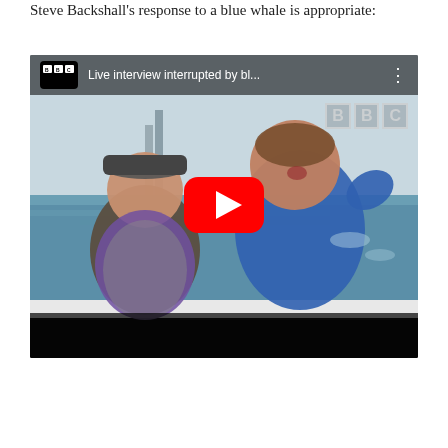Steve Backshall's response to a blue whale is appropriate:
[Figure (screenshot): YouTube video thumbnail showing a BBC video titled 'Live interview interrupted by bl...' featuring two people on a boat with water and industrial background. A woman in a cap and a man in a blue shirt appear surprised/excited. A large red YouTube play button is centered on the image. BBC logo appears in the top bar and as a watermark.]